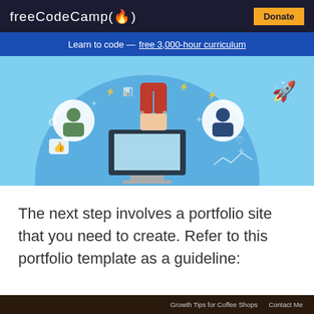freeCodeCamp(🔥)  Donate
Learn to code — free 3,000-hour curriculum
[Figure (illustration): Infographic showing a hand holding a magnet emerging from a computer monitor, attracting people avatars, surrounded by icons like thumbs up, gears, chart, lightning bolts, and a rocket on a blue circular background]
The next step involves a portfolio site that you need to create. Refer to this portfolio template as a guideline:
[Figure (screenshot): Partial screenshot of a portfolio website with a dark header bar showing 'Growth Tips for Coffee Shops' and 'Contact Me' navigation links]